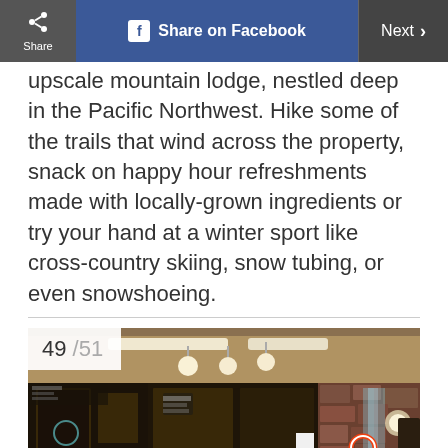Share  Share on Facebook  Next >
upscale mountain lodge, nestled deep in the Pacific Northwest. Hike some of the trails that wind across the property, snack on happy hour refreshments made with locally-grown ingredients or try your hand at a winter sport like cross-country skiing, snow tubing, or even snowshoeing.
[Figure (photo): Indoor hotel pool area with hot tub, red lounge chairs, stone wall feature with waterfall, warm lighting, signs on wall. Labeled '49 /51'.]